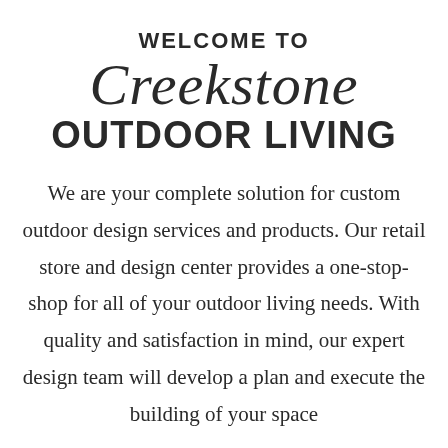WELCOME TO
Creekstone
OUTDOOR LIVING
We are your complete solution for custom outdoor design services and products. Our retail store and design center provides a one-stop-shop for all of your outdoor living needs. With quality and satisfaction in mind, our expert design team will develop a plan and execute the building of your space